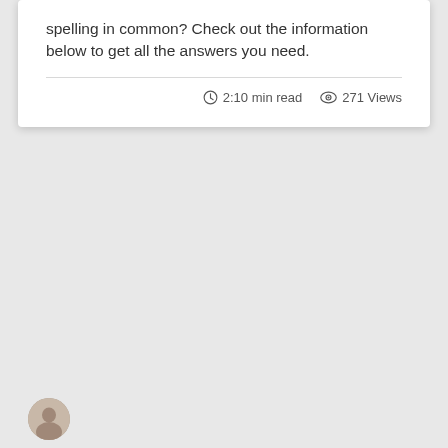spelling in common? Check out the information below to get all the answers you need.
2:10 min read   271 Views
[Figure (photo): Small circular avatar photo of a person, partially visible at the bottom left of the page]